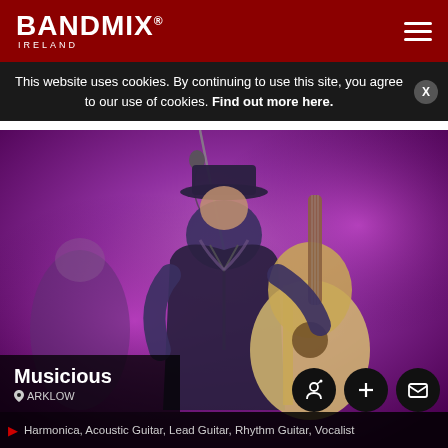BANDMIX® IRELAND
This website uses cookies. By continuing to use this site, you agree to our use of cookies. Find out more here.
[Figure (photo): A musician playing acoustic guitar on stage with purple stage lighting, wearing a dark shirt and hat, singing into a microphone]
Musicious
ARKLOW
Harmonica, Acoustic Guitar, Lead Guitar, Rhythm Guitar, Vocalist